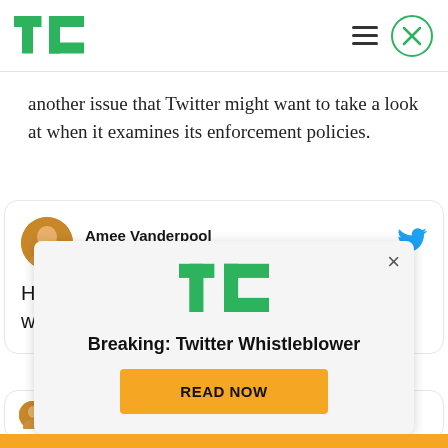TechCrunch
another issue that Twitter might want to take a look at when it examines its enforcement policies.
[Figure (screenshot): Embedded tweet from @girlsreallyrule (Amee Vanderpool) reading: 'He is also tweeting from @StoneColdTruth, which, aside from the irony, is quite sneaky.']
Amee Vanderpool @girlsreallyrule · Follow
He is also tweeting from @StoneColdTruth, which, aside from the irony, is quite sneaky.
Amee Vanderpool @girlsreallyrule
[Figure (screenshot): TechCrunch promotional ad overlay with TC logo, headline 'Breaking: Twitter Whistleblower', and a yellow 'READ NOW' button. Has an X close button.]